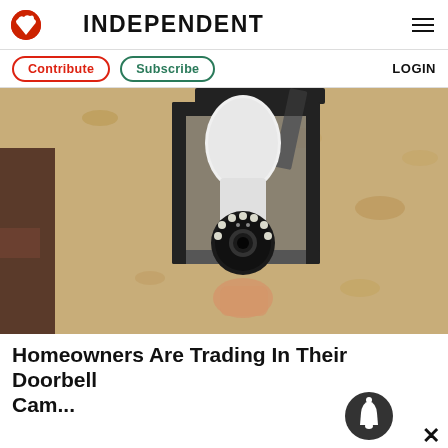INDEPENDENT
Contribute | Subscribe | LOGIN
[Figure (photo): A security camera shaped like a light bulb installed inside a black outdoor lantern fixture mounted on a textured stone/stucco wall.]
Homeowners Are Trading In Their Doorbell Cams For This